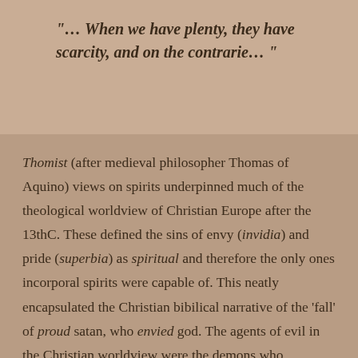"… When we have plenty, they have scarcity, and on the contrarie…"
Thomist (after medieval philosopher Thomas of Aquino) views on spirits underpinned much of the theological worldview of Christian Europe after the 13thC. These defined the sins of envy (invidia) and pride (superbia) as spiritual and therefore the only ones incorporal spirits were capable of. This neatly encapsulated the Christian bibilical narrative of the 'fall' of proud satan, who envied god. The agents of evil in the Christian worldview were the demons who conducted the will of higher (or lower!) spiritual agents; As 'fallen angels' they shared the sins of 'Lucifer'. This concordance with fairies is obvious, and folk-narratives often reinforce it by